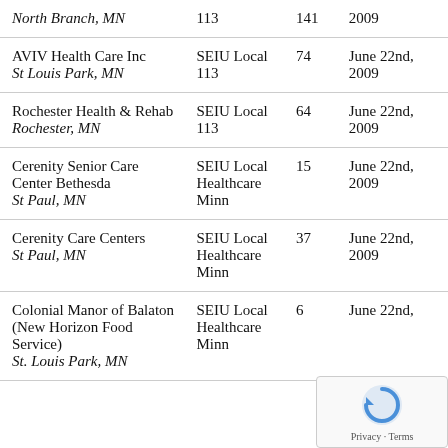| Organization | Union | Members | Date |
| --- | --- | --- | --- |
| [continued] North Branch, MN | SEIU Local 113 | 141
113 | 2009 |
| AVIV Health Care Inc
St Louis Park, MN | SEIU Local 113 | 74 | June 22nd, 2009 |
| Rochester Health & Rehab
Rochester, MN | SEIU Local 113 | 64 | June 22nd, 2009 |
| Cerenity Senior Care Center Bethesda
St Paul, MN | SEIU Local Healthcare Minn | 15 | June 22nd, 2009 |
| Cerenity Care Centers
St Paul, MN | SEIU Local Healthcare Minn | 37 | June 22nd, 2009 |
| Colonial Manor of Balaton (New Horizon Food Service)
St. Louis Park, MN | SEIU Local Healthcare Minn | 6 | June 22nd, |